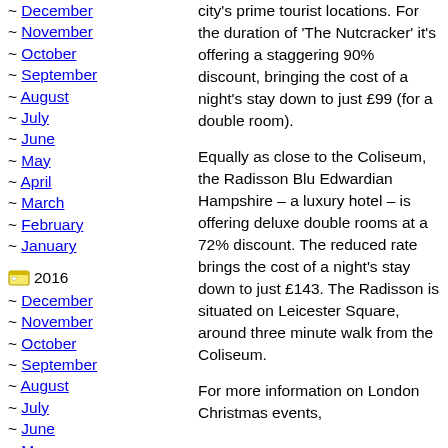~ December
~ November
~ October
~ September
~ August
~ July
~ June
~ May
~ April
~ March
~ February
~ January
2016
~ December
~ November
~ October
~ September
~ August
~ July
~ June
~ May
~ April
~ March
~ February
city's prime tourist locations. For the duration of 'The Nutcracker' it's offering a staggering 90% discount, bringing the cost of a night's stay down to just £99 (for a double room).
Equally as close to the Coliseum, the Radisson Blu Edwardian Hampshire – a luxury hotel – is offering deluxe double rooms at a 72% discount. The reduced rate brings the cost of a night's stay down to just £143. The Radisson is situated on Leicester Square, around three minute walk from the Coliseum.
For more information on London Christmas events,